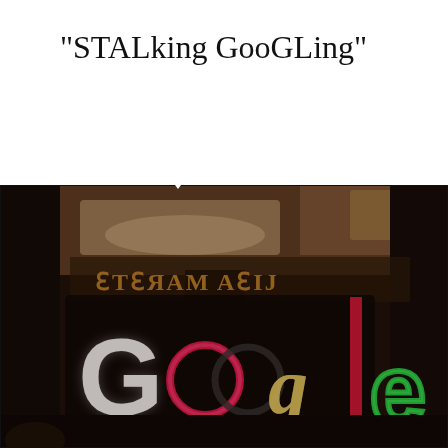“STALking GooGLing”
[Figure (photo): Photo of illuminated Google sign with colorful neon letters (white G, pink-red O, black O, gold g, green e) reflected in a window or glass surface, with a reversed marquee sign visible in the background reading 'FLEA MARKET'. Interior of what appears to be a Google office or venue, dark warm-toned atmosphere.]